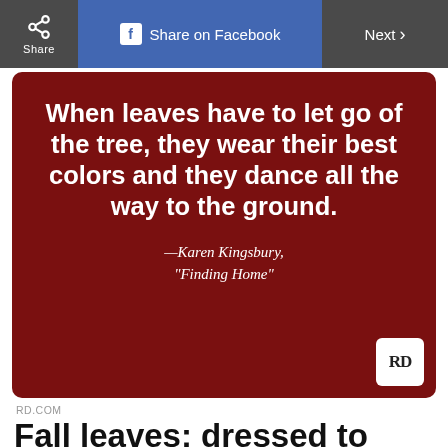Share | Share on Facebook | Next >
[Figure (illustration): Dark red/maroon quote card with white bold text: 'When leaves have to let go of the tree, they wear their best colors and they dance all the way to the ground.' Attribution in italic: '—Karen Kingsbury, "Finding Home"'. RD logo in bottom-right corner.]
RD.COM
Fall leaves: dressed to